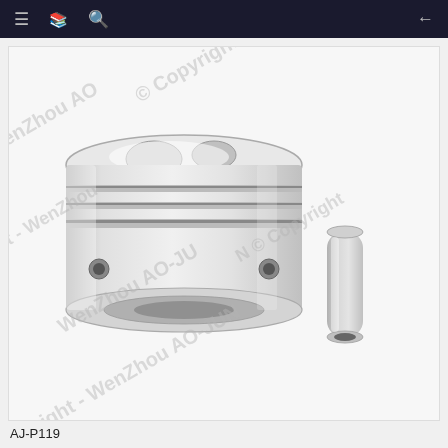[Figure (photo): Product photo of an engine piston (silver/chrome, viewed from slight angle showing top crown with valve reliefs and ring grooves) alongside a separate wrist pin/gudgeon pin. White background with diagonal watermark text 'WenZhou AO-JUN © Copyright'.]
AJ-P119